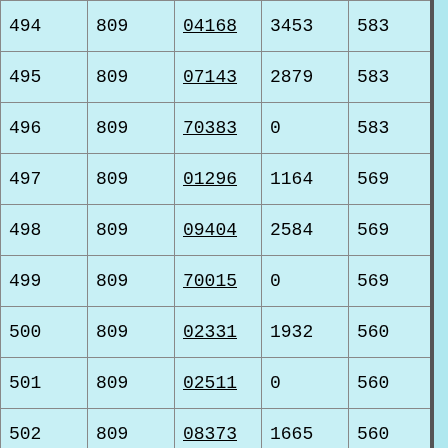| 494 | 809 | 04168 | 3453 | 583 | 40... |
| 495 | 809 | 07143 | 2879 | 583 | 34... |
| 496 | 809 | 70383 | 0 | 583 | 58... |
| 497 | 809 | 01296 | 1164 | 569 | 17... |
| 498 | 809 | 09404 | 2584 | 569 | 31... |
| 499 | 809 | 70015 | 0 | 569 | 56... |
| 500 | 809 | 02331 | 1932 | 560 | 24... |
| 501 | 809 | 02511 | 0 | 560 | 56... |
| 502 | 809 | 08373 | 1665 | 560 | 22... |
| 503 | 809 | 16543 | 5313 | 560 | 58... |
| 504 | 809 | 70846 | 0 | 560 | 56... |
| 505 | 809 | 13138 | 2240 | 556 | 27... |
| 506 | 809 | 08965 | 1381 | 544 | 19... |
| 507 | 809 | 03608 | 2221 | 533 | 27... |